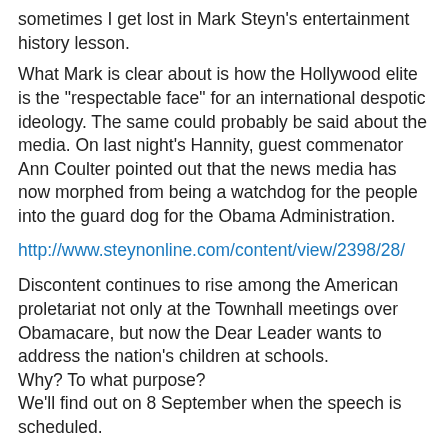sometimes I get lost in Mark Steyn's entertainment history lesson.
What Mark is clear about is how the Hollywood elite is the "respectable face" for an international despotic ideology. The same could probably be said about the media. On last night's Hannity, guest commenator Ann Coulter pointed out that the news media has now morphed from being a watchdog for the people into the guard dog for the Obama Administration.
http://www.steynonline.com/content/view/2398/28/
Discontent continues to rise among the American proletariat not only at the Townhall meetings over Obamacare, but now the Dear Leader wants to address the nation's children at schools.
Why? To what purpose?
We'll find out on 8 September when the speech is scheduled.
Ted Henkle at 12:59 PM   No comments: